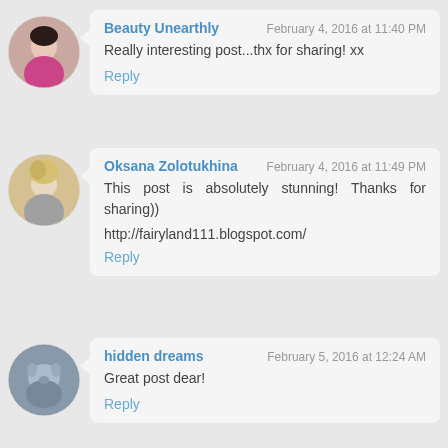[Figure (photo): Circular avatar of Beauty Unearthly - woman with dark hair in pink top]
Beauty Unearthly
February 4, 2016 at 11:40 PM
Really interesting post...thx for sharing! xx
Reply
[Figure (photo): Circular avatar of Oksana Zolotukhina - blonde woman]
Oksana Zolotukhina
February 4, 2016 at 11:49 PM
This post is absolutely stunning! Thanks for sharing))
http://fairyland111.blogspot.com/
Reply
[Figure (photo): Circular avatar of hidden dreams - grey cat]
hidden dreams
February 5, 2016 at 12:24 AM
Great post dear!
Reply